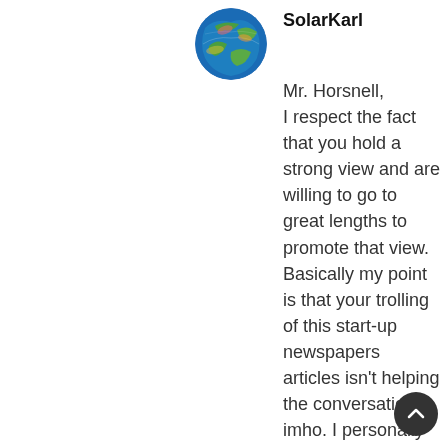[Figure (photo): Circular avatar image showing a stylized globe/earth with colorful cloud patterns]
SolarKarl
Mr. Horsnell,
I respect the fact that you hold a strong view and are willing to go to great lengths to promote that view. Basically my point is that your trolling of this start-up newspapers articles isn't helping the conversation, imho. I personally take no exception to your views, you reflect a muted version of strong oppositions to any form